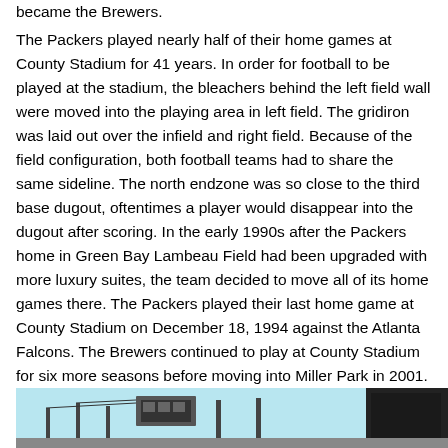became the Brewers.
The Packers played nearly half of their home games at County Stadium for 41 years. In order for football to be played at the stadium, the bleachers behind the left field wall were moved into the playing area in left field. The gridiron was laid out over the infield and right field. Because of the field configuration, both football teams had to share the same sideline. The north endzone was so close to the third base dugout, oftentimes a player would disappear into the dugout after scoring. In the early 1990s after the Packers home in Green Bay Lambeau Field had been upgraded with more luxury suites, the team decided to move all of its home games there. The Packers played their last home game at County Stadium on December 18, 1994 against the Atlanta Falcons. The Brewers continued to play at County Stadium for six more seasons before moving into Miller Park in 2001. County Stadium was demolished in December 2000 and is now the site of a little league baseball field.
[Figure (photo): Partial view of County Stadium photograph, showing stadium structure against a light blue sky background]